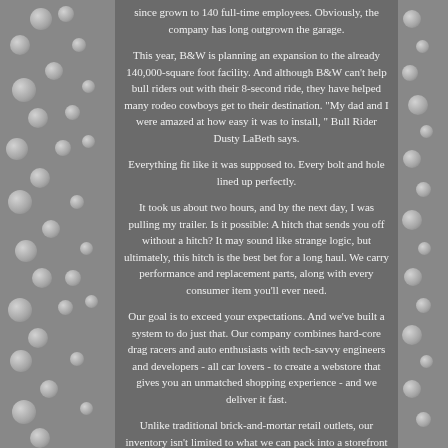since grown to 140 full-time employees. Obviously, the company has long outgrown the garage.
This year, B&W is planning an expansion to the already 140,000-square foot facility. And although B&W can't help bull riders out with their 8-second ride, they have helped many rodeo cowboys get to their destination. "My dad and I were amazed at how easy it was to install, " Bull Rider Dusty LaBeth says.
Everything fit like it was supposed to. Every bolt and hole lined up perfectly.
It took us about two hours, and by the next day, I was pulling my trailer. Is it possible: A hitch that sends you off without a hitch? It may sound like strange logic, but ultimately, this hitch is the best bet for a long haul. We carry performance and replacement parts, along with every consumer item you'll ever need.
Our goal is to exceed your expectations. And we've built a system to do just that. Our company combines hard-core drag racers and auto enthusiasts with tech-savvy engineers and developers - all car lovers - to create a webstore that gives you an unmatched shopping experience - and we deliver it fast.
Unlike traditional brick-and-mortar retail outlets, our inventory isn't limited to what we can pack into a storefront or what a counter clerk may be able to find. A better shopping experience, for every product for every car, whenever you order. All orders are immediately sent to our distribution centers which may impact your ability to cancel